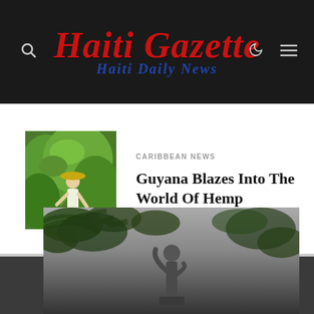Haiti Gazette — Haiti Daily News
[Figure (photo): Thumbnail photo of a person in a hat tending to hemp/green plants in a field]
CARIBBEAN NEWS
Guyana Blazes Into The World Of Hemp
[Figure (photo): Large dark photograph of a statue or person figure under tree branches, dark grayscale tone]